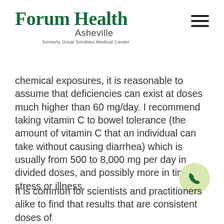[Figure (logo): Forum Health Asheville logo — 'Forum Health' in bold dark green serif font, 'Asheville' in gray sans-serif, 'formerly Great Smokies Medical Center' in small gray text]
chemical exposures, it is reasonable to assume that deficiencies can exist at doses much higher than 60 mg/day. I recommend taking vitamin C to bowel tolerance (the amount of vitamin C that an individual can take without causing diarrhea) which is usually from 500 to 8,000 mg per day in divided doses, and possibly more in times of stress or illness.
[Figure (illustration): Phone call button — circular light green button with dark green phone handset icon]
It is common for scientists and practitioners alike to find that results that are consistent doses of